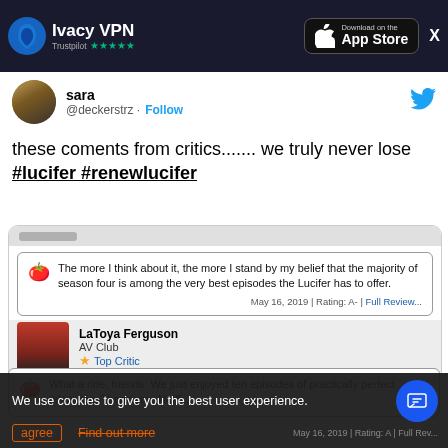[Figure (screenshot): Ivacy VPN header bar with logo, Trustpilot 5-star rating, App Store download button, and close X button]
sara @deckerstrz · Follow
these coments from critics....... we truly never lose #lucifer #renewlucifer
[Figure (screenshot): Embedded Rotten Tomatoes review card: 'The more I think about it, the more I stand by my belief that the majority of season four is among the very best episodes the Lucifer has to offer.' May 16, 2019 | Rating: A- | Full Review... by LaToya Ferguson, AV Club, Top Critic]
[Figure (screenshot): Second Rotten Tomatoes review card (partially visible): 'What a ride, friends. We just enjoyed ten episodes of practically perfect television. Thank you, Netfli...' May 16, 2019 | Rating: A | Full Rev...]
We use cookies to give you the best user experience.
agree   Find out more